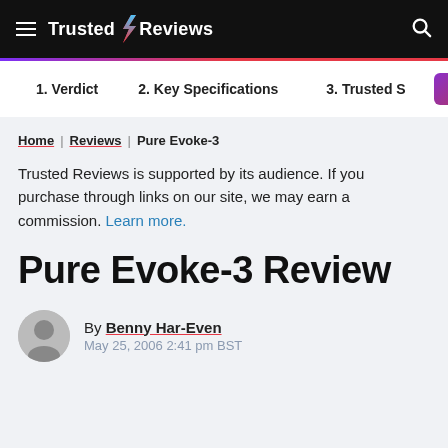Trusted Reviews
1. Verdict  2. Key Specifications  3. Trusted S  Share
Home | Reviews | Pure Evoke-3
Trusted Reviews is supported by its audience. If you purchase through links on our site, we may earn a commission. Learn more.
Pure Evoke-3 Review
By Benny Har-Even
May 25, 2006 2:41 pm BST